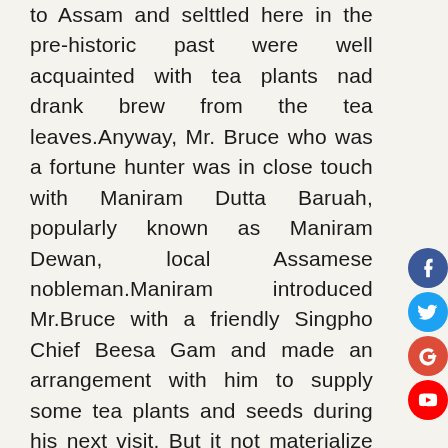to Assam and selttled here in the pre-historic past were well acquainted with tea plants nad drank brew from the tea leaves.Anyway, Mr. Bruce who was a fortune hunter was in close touch with Maniram Dutta Baruah, popularly known as Maniram Dewan, local Assamese nobleman.Maniram introduced Mr.Bruce with a friendly Singpho Chief Beesa Gam and made an arrangement with him to supply some tea plants and seeds during his next visit. But it not materialize due to his death. However, in 1824, younger brother, Charles Alexander Bruce met the Singphow Chief who supplied him some tea plants and seeds. Mr.C.A. Bruce was in charge of the British Gunboat division in the war with the Burmese occupying Assam in 1824 and posted at Sadiya. Mr. Bruce planted the tea plants in front of his bunglow